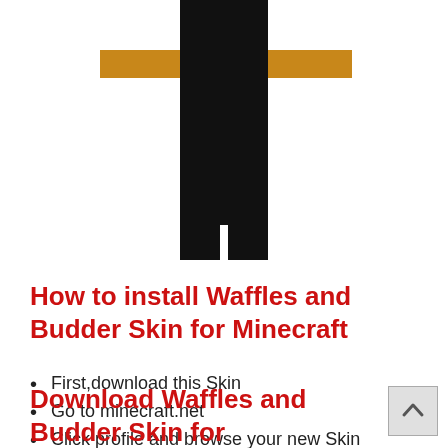[Figure (illustration): Minecraft character skin showing a figure in black outfit with brown/orange horizontal arm stripes, viewed from front, cropped at top]
How to install Waffles and Budder Skin for Minecraft
First,download this Skin
Go to minecraft.net
Click profile and browse your new Skin
Click upload image
Enjoy your new Skin
Download Waffles and Budder Skin for